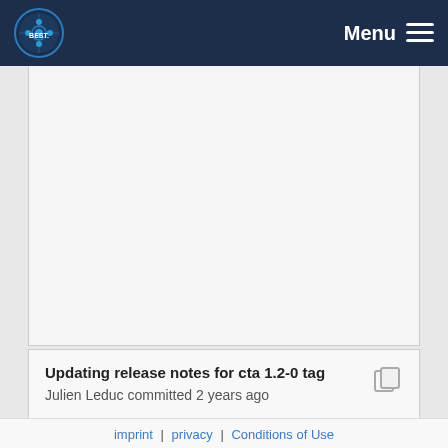Menu
Updating release notes for cta 1.2-0 tag
Julien Leduc committed 2 years ago
Added ReleaseNotes.md
Cedric CAFFY committed 2 years ago
imprint | privacy | Conditions of Use